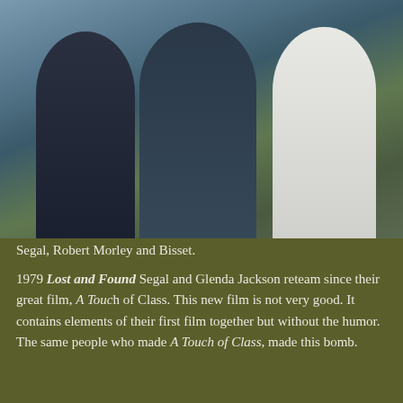[Figure (photo): Three people posing together: a man in a dark suit on the left, an older man in a pinstripe suit in the center, and a woman in a white chef's outfit with a tall white hat on the right.]
Segal, Robert Morley and Bisset.
1979 Lost and Found Segal and Glenda Jackson reteam since their great film, A Touch of Class. This new film is not very good. It contains elements of their first film together but without the humor. The same people who made A Touch of Class, made this bomb.